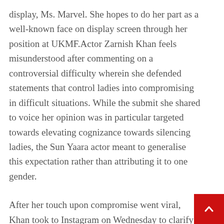display, Ms. Marvel. She hopes to do her part as a well-known face on display screen through her position at UKMF.Actor Zarnish Khan feels misunderstood after commenting on a controversial difficulty wherein she defended statements that control ladies into compromising in difficult situations. While the submit she shared to voice her opinion was in particular targeted towards elevating cognizance towards silencing ladies, the Sun Yaara actor meant to generalise this expectation rather than attributing it to one gender.

After her touch upon compromise went viral, Khan took to Instagram on Wednesday to clarify her statement for folks who took something else from her phrases.Referring to compromise being utiliz